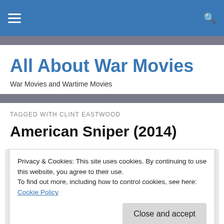All About War Movies - Navigation bar with hamburger menu and search icon
All About War Movies
War Movies and Wartime Movies
TAGGED WITH CLINT EASTWOOD
American Sniper (2014)
Privacy & Cookies: This site uses cookies. By continuing to use this website, you agree to their use.
To find out more, including how to control cookies, see here: Cookie Policy
Close and accept